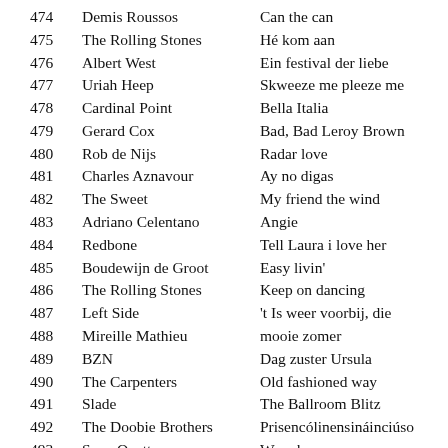474  Demis Roussos  Can the can
475  The Rolling Stones  Hé kom aan
476  Albert West  Ein festival der liebe
477  Uriah Heep  Skweeze me pleeze me
478  Cardinal Point  Bella Italia
479  Gerard Cox  Bad, Bad Leroy Brown
480  Rob de Nijs  Radar love
481  Charles Aznavour  Ay no digas
482  The Sweet  My friend the wind
483  Adriano Celentano  Angie
484  Redbone  Tell Laura i love her
485  Boudewijn de Groot  Easy livin'
486  The Rolling Stones  Keep on dancing
487  Left Side  't Is weer voorbij, die
488  Mireille Mathieu  mooie zomer
489  BZN  Dag zuster Ursula
490  The Carpenters  Old fashioned way
491  Slade  The Ballroom Blitz
492  The Doobie Brothers  Prisencólinensináinciúso
493  Suzy Quattro  Wovoka
494  Demis Roussos  Jimmi
495  Rieta S...  Somewhere for the d...